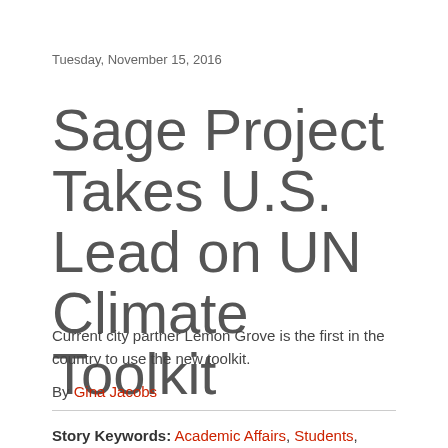Tuesday, November 15, 2016
Sage Project Takes U.S. Lead on UN Climate Toolkit
Current city partner Lemon Grove is the first in the country to use the new toolkit.
By Gina Jacobs
Story Keywords: Academic Affairs, Students, California, Environment, Sage Project